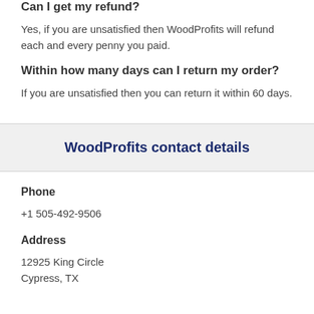Can I get my refund?
Yes, if you are unsatisfied then WoodProfits will refund each and every penny you paid.
Within how many days can I return my order?
If you are unsatisfied then you can return it within 60 days.
WoodProfits contact details
Phone
+1 505-492-9506
Address
12925 King Circle
Cypress, TX